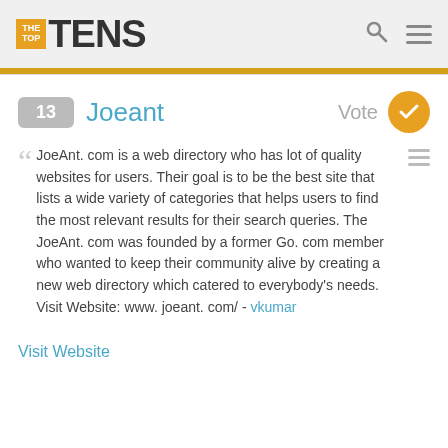THE TOP TENS
13 Joeant
JoeAnt. com is a web directory who has lot of quality websites for users. Their goal is to be the best site that lists a wide variety of categories that helps users to find the most relevant results for their search queries. The JoeAnt. com was founded by a former Go. com member who wanted to keep their community alive by creating a new web directory which catered to everybody's needs.
Visit Website: www. joeant. com/ - vkumar
Visit Website